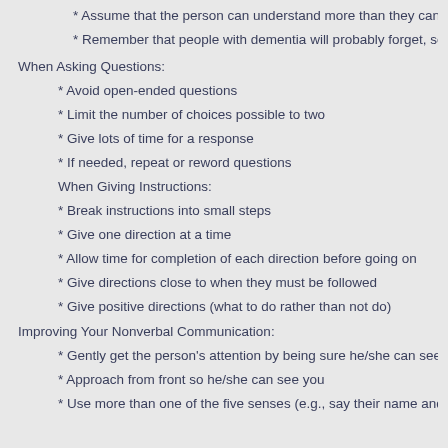* Assume that the person can understand more than they can express
* Remember that people with dementia will probably forget, so you ma
When Asking Questions:
* Avoid open-ended questions
* Limit the number of choices possible to two
* Give lots of time for a response
* If needed, repeat or reword questions
When Giving Instructions:
* Break instructions into small steps
* Give one direction at a time
* Allow time for completion of each direction before going on
* Give directions close to when they must be followed
* Give positive directions (what to do rather than not do)
Improving Your Nonverbal Communication:
* Gently get the person's attention by being sure he/she can see you b
* Approach from front so he/she can see you
* Use more than one of the five senses (e.g., say their name and touc